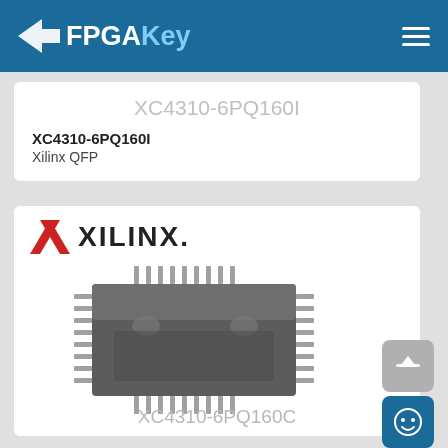FPGAKey
XC4310-6PQ160I
XC4310-6PQ160I
Xilinx QFP
[Figure (logo): Xilinx logo with red X symbol and bold XILINX text]
[Figure (photo): Xilinx XC4310-6PQ160C QFP integrated circuit chip photo]
XC4310-6PQ160C